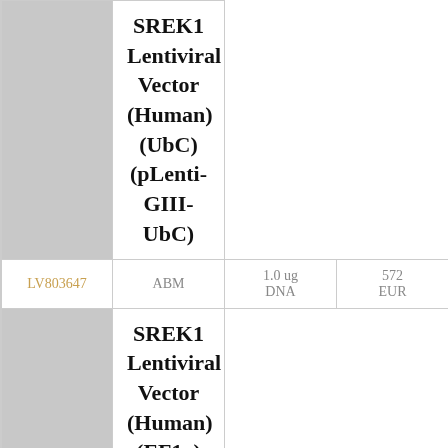[Figure (photo): Gray placeholder image for SREK1 Lentiviral Vector (Human) (UbC) product]
SREK1 Lentiviral Vector (Human) (UbC) (pLenti-GIII-UbC)
| Cat. No. | Supplier | Amount/Type | Price |
| --- | --- | --- | --- |
| LV803647 | ABM | 1.0 ug DNA | 572 EUR |
[Figure (photo): Gray placeholder image for SREK1 Lentiviral Vector (Human) (EF1a) product]
SREK1 Lentiviral Vector (Human) (EF1a) (pLenti-GIII-EF1a)